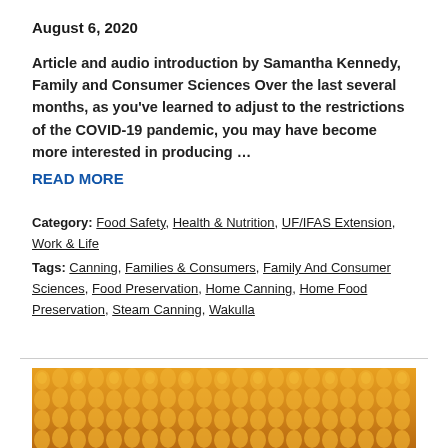August 6, 2020
Article and audio introduction by Samantha Kennedy, Family and Consumer Sciences Over the last several months, as you've learned to adjust to the restrictions of the COVID-19 pandemic, you may have become more interested in producing …
READ MORE
Category: Food Safety, Health & Nutrition, UF/IFAS Extension, Work & Life
Tags: Canning, Families & Consumers, Family And Consumer Sciences, Food Preservation, Home Canning, Home Food Preservation, Steam Canning, Wakulla
[Figure (photo): Close-up photograph of corn on the cob showing yellow kernels]